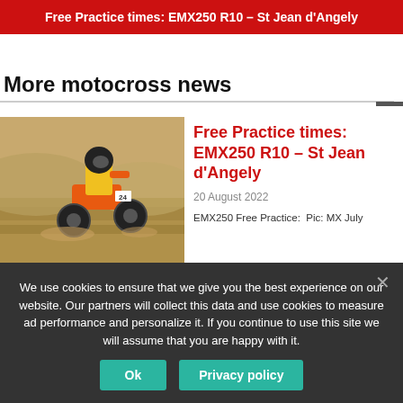Free Practice times: EMX250 R10 – St Jean d'Angely
More motocross news
[Figure (photo): Motocross rider on a dirt bike racing on a sandy track, wearing yellow gear and helmet]
Free Practice times: EMX250 R10 – St Jean d'Angely
20 August 2022
EMX250 Free Practice:  Pic: MX July
[Figure (photo): Partially visible motocross photo for second news article]
French MXGP live
We use cookies to ensure that we give you the best experience on our website. Our partners will collect this data and use cookies to measure ad performance and personalize it. If you continue to use this site we will assume that you are happy with it.